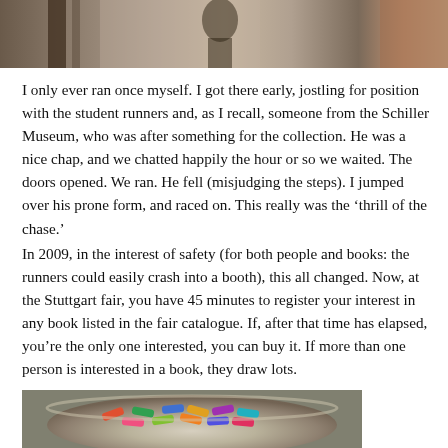[Figure (photo): Top portion of a black and white or sepia-toned photograph showing an interior scene, partially cropped at the top of the page.]
I only ever ran once myself. I got there early, jostling for position with the student runners and, as I recall, someone from the Schiller Museum, who was after something for the collection. He was a nice chap, and we chatted happily the hour or so we waited. The doors opened. We ran. He fell (misjudging the steps). I jumped over his prone form, and raced on. This really was the ‘thrill of the chase.’
In 2009, in the interest of safety (for both people and books: the runners could easily crash into a booth), this all changed. Now, at the Stuttgart fair, you have 45 minutes to register your interest in any book listed in the fair catalogue. If, after that time has elapsed, you’re the only one interested, you can buy it. If more than one person is interested in a book, they draw lots.
[Figure (photo): Bottom portion of a photograph showing a glass bowl filled with colorful rolled paper lots or tickets in various colors.]